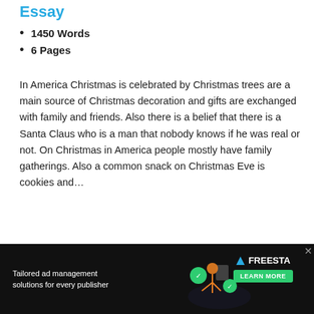Essay
1450 Words
6 Pages
In America Christmas is celebrated by Christmas trees are a main source of Christmas decoration and gifts are exchanged with family and friends. Also there is a belief that there is a Santa Claus who is a man that nobody knows if he was real or not. On Christmas in America people mostly have family gatherings. Also a common snack on Christmas Eve is cookies and…
[Figure (other): Read More button — a teal rounded-rectangle button with white text 'Read More']
[Figure (other): Advertisement banner: dark background with text 'Tailored ad management solutions for every publisher', FREESTA logo with triangle icon, and green LEARN MORE button]